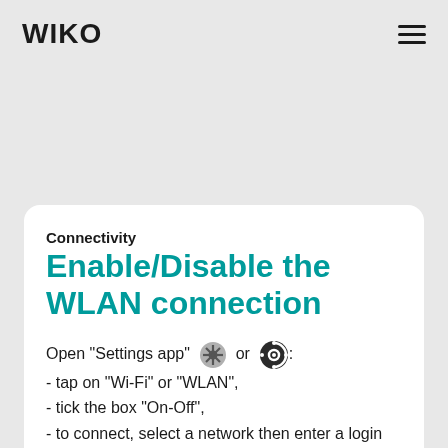WIKO
Connectivity
Enable/Disable the WLAN connection
Open "Settings app" or : - tap on "Wi-Fi" or "WLAN", - tick the box "On-Off", - to connect, select a network then enter a login and a password, if needed.*